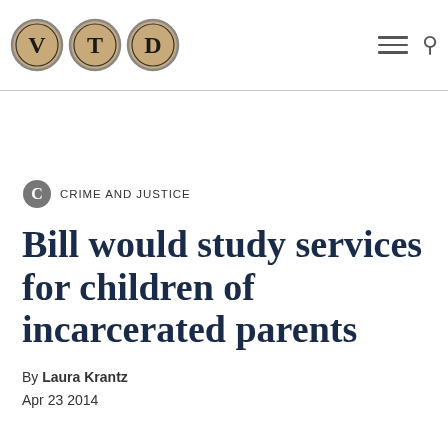[Figure (logo): VTD logo — three typewriter-key circles with letters V, T, D]
CRIME AND JUSTICE
Bill would study services for children of incarcerated parents
By Laura Krantz
Apr 23 2014